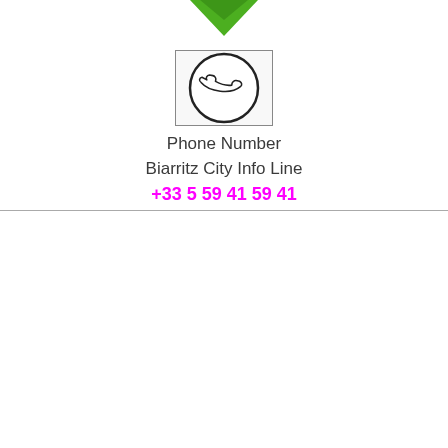[Figure (logo): Green diamond/arrow shape at top center of page]
[Figure (illustration): Phone handset icon inside a square border — a circular black outlined icon with a telephone receiver illustration]
Phone Number
Biarritz City Info Line
+33 5 59 41 59 41
Numero Mairie Biarritz